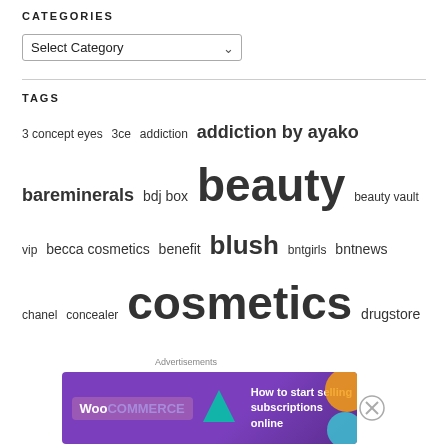CATEGORIES
Select Category (dropdown)
TAGS
3 concept eyes  3ce  addiction  addiction by ayako  bareminerals  bdj box  beauty  beauty vault vip  becca cosmetics  benefit  blush  bntgirls  bntnews  chanel  concealer  cosmetics  drugstore  ellis faas  eyeliner  eye makeup  eyeshadow  eyeshadow palette  face of the day  featured  fotd  glossier  guerlain  happy skin  hourglass  hourglass cosmetics  ilia beauty  illamasqua  japanese cosmetics  k-palette  kjaer weis  korean cosmetics  le
[Figure (screenshot): Advertisement banner: WooCommerce ad — 'How to start selling subscriptions online']